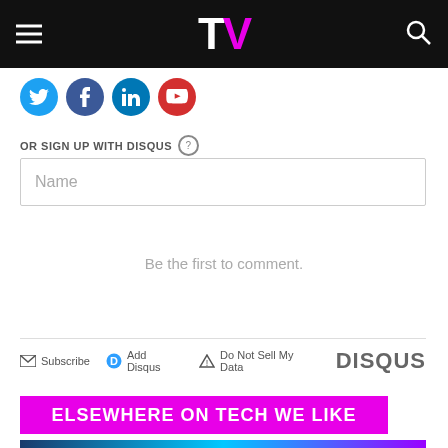TV (Tech We Like logo)
[Figure (logo): Social media icons row: Twitter (blue), Facebook (dark blue), LinkedIn (light blue), YouTube (red) circular icons]
OR SIGN UP WITH DISQUS (?)
Name
Be the first to comment.
Subscribe  Add Disqus  Do Not Sell My Data  DISQUS
ELSEWHERE ON TECH WE LIKE
[Figure (photo): Colorful image strip at bottom, purple and blue tones]